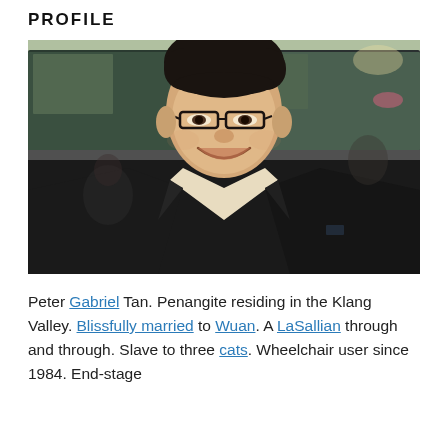PROFILE
[Figure (photo): Portrait photo of Peter Gabriel Tan, a smiling Asian man wearing glasses and a dark suit jacket with a light-colored shirt, photographed outdoors in front of a blurred background with green and dark elements.]
Peter Gabriel Tan. Penangite residing in the Klang Valley. Blissfully married to Wuan. A LaSallian through and through. Slave to three cats. Wheelchair user since 1984. End-stage…